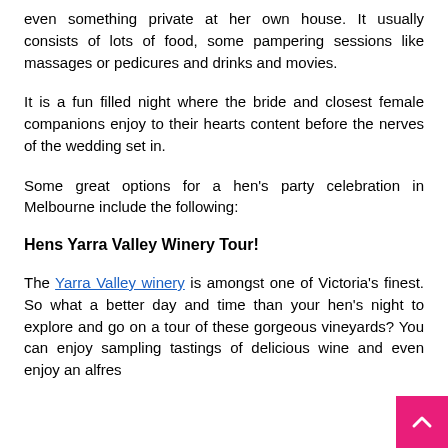even something private at her own house. It usually consists of lots of food, some pampering sessions like massages or pedicures and drinks and movies.
It is a fun filled night where the bride and closest female companions enjoy to their hearts content before the nerves of the wedding set in.
Some great options for a hen's party celebration in Melbourne include the following:
Hens Yarra Valley Winery Tour!
The Yarra Valley winery is amongst one of Victoria's finest. So what a better day and time than your hen's night to explore and go on a tour of these gorgeous vineyards? You can enjoy sampling tastings of delicious wine and even enjoy an alfres…